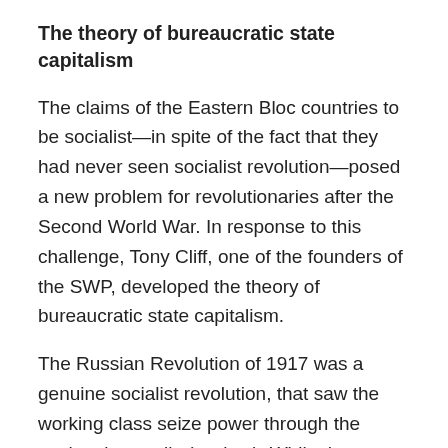The theory of bureaucratic state capitalism
The claims of the Eastern Bloc countries to be socialist—in spite of the fact that they had never seen socialist revolution—posed a new problem for revolutionaries after the Second World War. In response to this challenge, Tony Cliff, one of the founders of the SWP, developed the theory of bureaucratic state capitalism.
The Russian Revolution of 1917 was a genuine socialist revolution, that saw the working class seize power through the workers' councils (soviets). While the working class was a minority in Russia, its concentration in pockets of capitalism, such as Petrograd, gave it power disproportionate to its size within the Russian economy. This meant the working class could seize